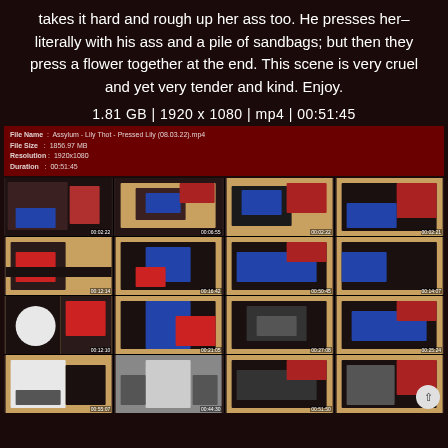takes it hard and rough up her ass too. He presses her–literally with his ass and a pile of sandbags; but then they press a flower together at the end. This scene is very cruel and yet very tender and kind. Enjoy.
1.81 GB | 1920 x 1080 | mp4 | 00:51:45
| File Name | Assylum - Lily Thot - Pressed Lily (08.03.22).mp4 |
| File Size | 1856.97 MB |
| Resolution | 1920x1080 |
| Duration | 00:51:45 |
[Figure (photo): 4x4 grid of video thumbnails showing scenes from the video, each with a timestamp overlay in the bottom right corner.]